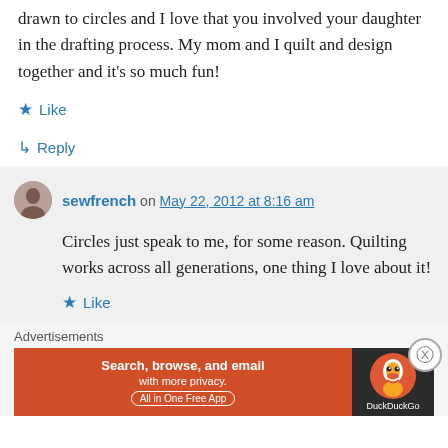drawn to circles and I love that you involved your daughter in the drafting process. My mom and I quilt and design together and it's so much fun!
★ Like
↳ Reply
sewfrench on May 22, 2012 at 8:16 am
Circles just speak to me, for some reason. Quilting works across all generations, one thing I love about it!
★ Like
Advertisements
[Figure (other): DuckDuckGo advertisement banner: 'Search, browse, and email with more privacy. All in One Free App' with DuckDuckGo duck logo on dark background]